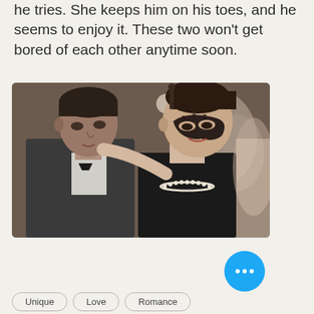he tries. She keeps him on his toes, and he seems to enjoy it. These two won't get bored of each other anytime soon.
[Figure (photo): A man in a tuxedo and a woman wearing a black masquerade mask face each other closely at a formal event, the woman's hand on the man's shoulder.]
Unique
Love
Romance